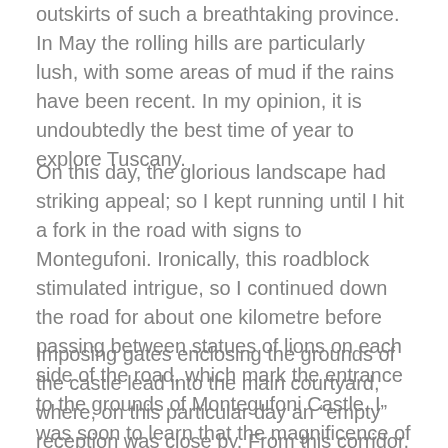outskirts of such a breathtaking province. In May the rolling hills are particularly lush, with some areas of mud if the rains have been recent. In my opinion, it is undoubtedly the best time of year to explore Tuscany.
On this day, the glorious landscape had striking appeal; so I kept running until I hit a fork in the road with signs to Montegufoni. Ironically, this roadblock stimulated intrigue, so I continued down the road for about one kilometre before passing between statues of lions on each side of the road, which mark the entrance to the grounds of Montegufoni Castle. I was soon to learn that the magnificence of Montegufoni Castle dates back to the twelfth century.
Imposing gates enclosing the grounds of the castle lead into the main courtyard, where, on this particular day an “empty” reception was close by. From this corridor, the castle was open to inspection, as well as being open to